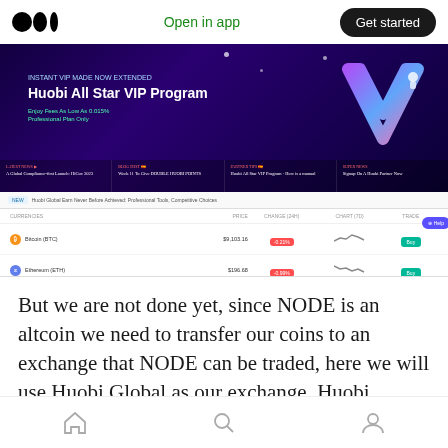Open in app | Get started
[Figure (screenshot): Screenshot of Huobi Global exchange website showing the Huobi All Star VIP Program banner and a cryptocurrency price table with Bitcoin (BTC) and Ethereum (ETH) rows]
But we are not done yet, since NODE is an altcoin we need to transfer our coins to an exchange that NODE can be traded, here we will use Huobi Global as our exchange. Huobi Global is a
Home | Search | Profile navigation icons